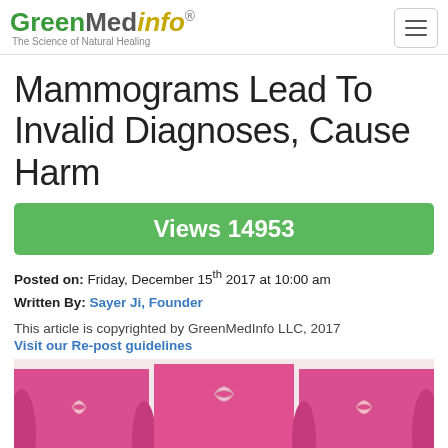GreenMedInfo - The Science of Natural Healing
Mammograms Lead To Invalid Diagnoses, Cause Harm
Views 14953
Posted on: Friday, December 15th 2017 at 10:00 am
Written By: Sayer Ji, Founder
This article is copyrighted by GreenMedInfo LLC, 2017
Visit our Re-post guidelines
[Figure (photo): Three women wearing pink tops with breast cancer awareness ribbons, shown from torso down, holding hands in the center]